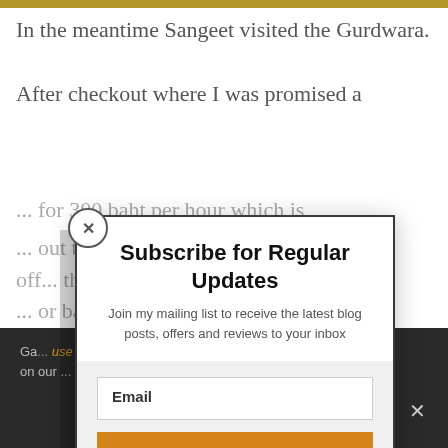In the meantime Sangeet visited the Gurdwara.
After checkout where I was promised a ... for 300 baht per hour which is ... out the b... ... on the off... the b... ... to b... that ... or bar ... the driver may take it with your luggage! This is why they ...
Subscribe for Regular Updates
Join my mailing list to receive the latest blog posts, offers and reviews to your inbox
Email
SUBSCRIBE!
Ga... use cookies to ensure that we give you the best e...nce on our ... below you co... ... will ... availab...at ...